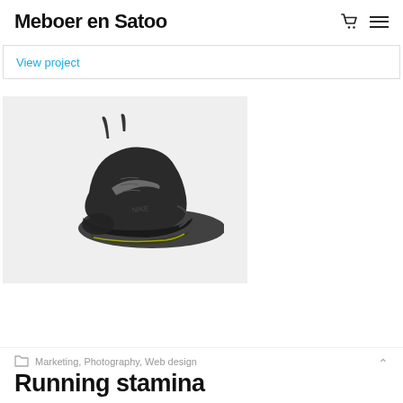Meboer en Satoo
View project
[Figure (photo): A black Nike running shoe photographed on a light gray background, floating/suspended at an angle showing the side profile of the shoe.]
Marketing, Photography, Web design
Running stamina